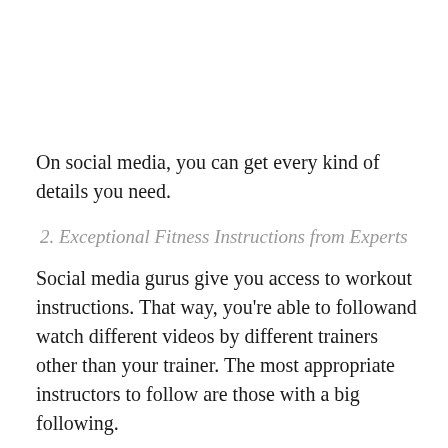On social media, you can get every kind of details you need.
2. Exceptional Fitness Instructions from Experts
Social media gurus give you access to workout instructions. That way, you're able to followand watch different videos by different trainers other than your trainer. The most appropriate instructors to follow are those with a big following.
By following these experts, you learn many skills for less money and time.